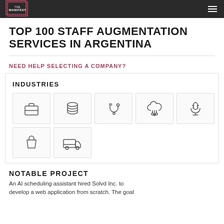THE MANIFEST
TOP 100 STAFF AUGMENTATION SERVICES IN ARGENTINA
NEED HELP SELECTING A COMPANY?
INDUSTRIES
[Figure (infographic): Grid of 7 industry icons: briefcase, coins/finance, stethoscope/medical, cloud computing, microphone, shopping bag, delivery truck]
NOTABLE PROJECT
An AI scheduling assistant hired Solvd Inc. to develop a web application from scratch. The goal